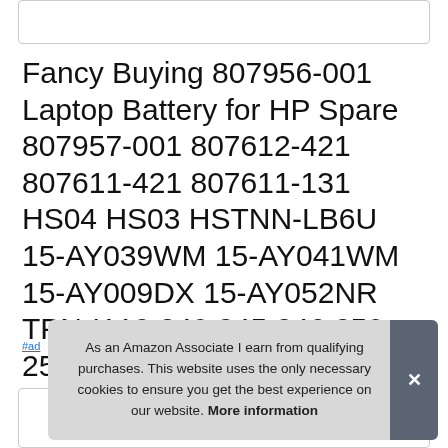Fancy Buying 807956-001 Laptop Battery for HP Spare 807957-001 807612-421 807611-421 807611-131 HS04 HS03 HSTNN-LB6U 15-AY039WM 15-AY041WM 15-AY009DX 15-AY052NR TPN-I119 240 245 246 250 256 G4/G5
#ad
As an Amazon Associate I earn from qualifying purchases. This website uses the only necessary cookies to ensure you get the best experience on our website. More information